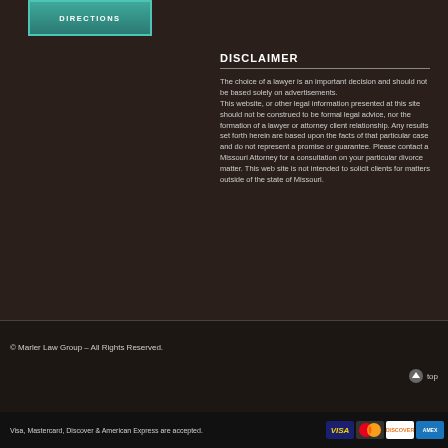[Figure (other): DIRECTIONS button with teal/green gradient styling]
DISCLAIMER
The choice of a lawyer is an important decision and should not be based solely on advertisements. This website, or other legal information presented at this site should not be construed to be formal legal advice, nor the formation of a lawyer or attorney client relationship. Any results set forth herein are based upon the facts of that particular case and do not represent a promise or guarantee. Please contact a Missouri Attorney for a consultation on your particular divorce matter. This web site is not intended to solicit clients for matters outside of the state of Missouri.
© Marler Law Group – All Rights Reserved.
top
Visa, Mastercard, Discover & American Express are accepted.